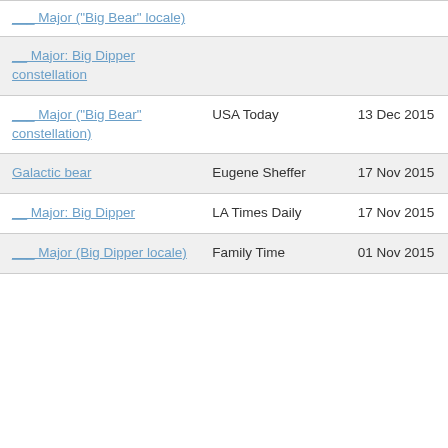| Term | Source | Date |
| --- | --- | --- |
| ___ Major ("Big Bear" locale) |  |  |
| __ Major: Big Dipper constellation |  |  |
| ___ Major ("Big Bear" constellation) | USA Today | 13 Dec 2015 |
| Galactic bear | Eugene Sheffer | 17 Nov 2015 |
| __ Major: Big Dipper | LA Times Daily | 17 Nov 2015 |
| ___ Major (Big Dipper locale) | Family Time | 01 Nov 2015 |